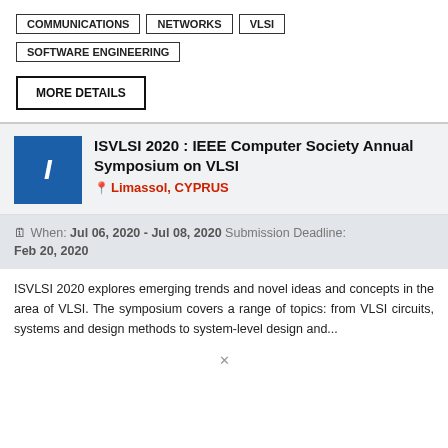COMMUNICATIONS
NETWORKS
VLSI
SOFTWARE ENGINEERING
MORE DETAILS
ISVLSI 2020 : IEEE Computer Society Annual Symposium on VLSI
Limassol, CYPRUS
When: Jul 06, 2020 - Jul 08, 2020 Submission Deadline: Feb 20, 2020
ISVLSI 2020 explores emerging trends and novel ideas and concepts in the area of VLSI. The symposium covers a range of topics: from VLSI circuits, systems and design methods to system-level design and...